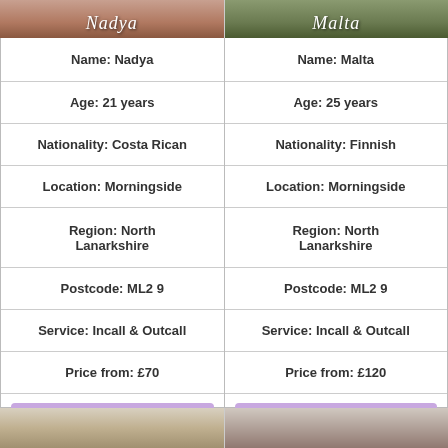[Figure (photo): Top cropped photo of Nadya with cursive name overlay]
[Figure (photo): Top cropped photo of Malta with cursive name overlay]
| Name: Nadya | Name: Malta |
| Age: 21 years | Age: 25 years |
| Nationality: Costa Rican | Nationality: Finnish |
| Location: Morningside | Location: Morningside |
| Region: North Lanarkshire | Region: North Lanarkshire |
| Postcode: ML2 9 | Postcode: ML2 9 |
| Service: Incall & Outcall | Service: Incall & Outcall |
| Price from: £70 | Price from: £120 |
| MORE DETAIL | MORE DETAIL |
[Figure (photo): Bottom cropped photo of a blonde woman]
[Figure (photo): Bottom cropped photo of a dark-haired woman]